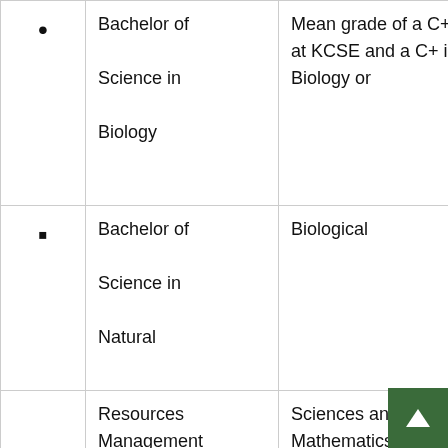|  | Programme | Requirements |
| --- | --- | --- |
| • | Bachelor of Science in Biology | Mean grade of a C+(plus) at KCSE and a C+ in Biology or |
| • | Bachelor of Science in Natural | Biological |
|  | Resources Management | Sciences and C (plain) in Mathematics, Or |
|  |  | 2 Principal passes at A level of |